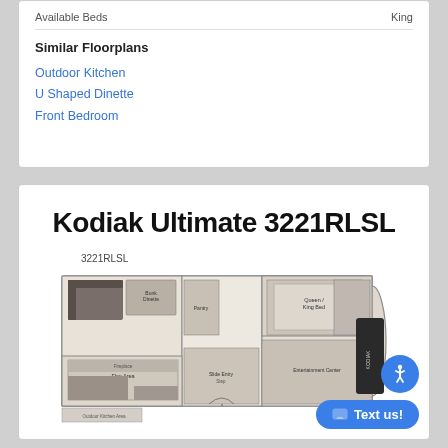| Available Beds | King |
| --- | --- |
Similar Floorplans
Outdoor Kitchen
U Shaped Dinette
Front Bedroom
Kodiak Ultimate 3221RLSL
3221RLSL
[Figure (engineering-diagram): RV floorplan diagram for Kodiak Ultimate 3221RLSL showing room layout including outdoor kitchen, pantry, entertainment areas, king bed, and slide-outs]